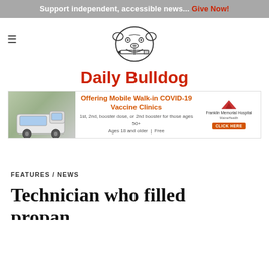Support independent, accessible news... Give Now!
[Figure (logo): Daily Bulldog newspaper logo with bulldog mascot illustration holding a pen/pencil in its mouth, with text 'Daily Bulldog' in red below]
[Figure (illustration): Advertisement for Franklin Memorial Hospital: Offering Mobile Walk-in COVID-19 Vaccine Clinics. 1st, 2nd, booster dose, or 2nd booster for those ages 50+. Ages 18 and older | Free. Photo of mobile clinic van on left, hospital logo and CLICK HERE button on right.]
FEATURES / NEWS
Technician who filled propan...